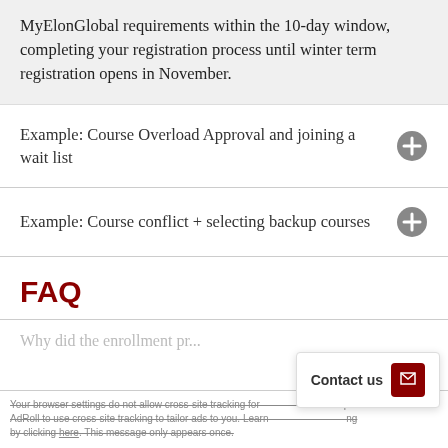MyElonGlobal requirements within the 10-day window, completing your registration process until winter term registration opens in November.
Example: Course Overload Approval and joining a wait list
Example: Course conflict + selecting backup courses
FAQ
Why did the enrollment pr...
Your browser settings do not allow cross-site tracking for... AdRoll to use cross-site tracking to tailor ads to you. Learn... by clicking here. This message only appears once.
Accept and Close ×
Contact us